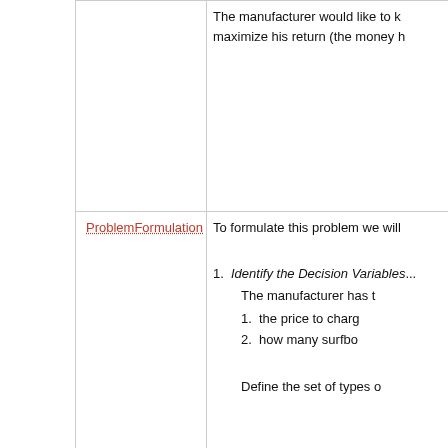The manufacturer would like to know how to maximize his return (the money he...
ProblemFormulation
To formulate this problem we will...
1. Identify the Decision Variables...
The manufacturer has t...
1. the price to charg...
2. how many surfbo...
Define the set of types o...
2. Formulate the Objective Funct...
The manufacturer wants... left over as that is a was... he will sell all the boards... by the price he chooses...